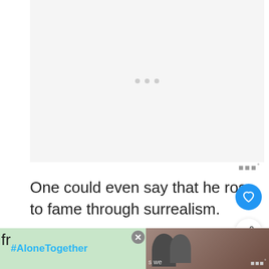[Figure (other): Light gray image placeholder area with three small gray loading dots centered, indicating an image that has not yet loaded. There is a small watermark logo (three bars with a degree symbol) in the bottom-right corner of the image area.]
One could even say that he rose to fame through surrealism.
Yet in the 1930's he was eventually removed fr
[Figure (other): Bottom advertisement bar showing #AloneTogether hashtag in blue text on dark background, an X close button, and a partial photo of a smiling family on the right side with a small watermark logo on far right.]